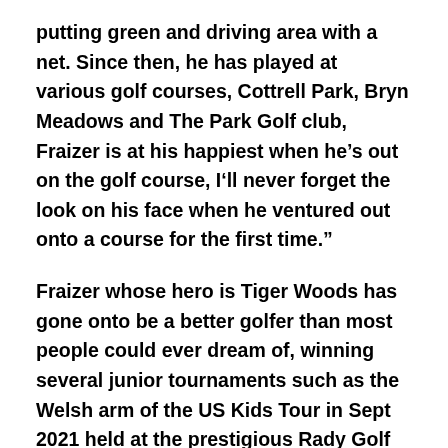putting green and driving area with a net. Since then, he has played at various golf courses, Cottrell Park, Bryn Meadows and The Park Golf club, Fraizer is at his happiest when he’s out on the golf course, I’ll never forget the look on his face when he ventured out onto a course for the first time.”
Fraizer whose hero is Tiger Woods has gone onto be a better golfer than most people could ever dream of, winning several junior tournaments such as the Welsh arm of the US Kids Tour in Sept 2021 held at the prestigious Rady Golf Club, in his best round he shot 38 which is the equivalent of +2. He has a physic routine which he does in the car before every